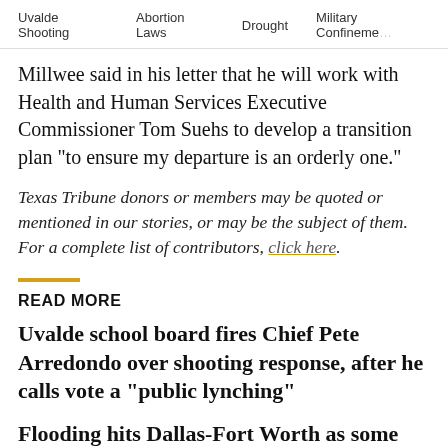Uvalde Shooting   Abortion Laws   Drought   Military Confinement
Millwee said in his letter that he will work with Health and Human Services Executive Commissioner Tom Suehs to develop a transition plan "to ensure my departure is an orderly one."
Texas Tribune donors or members may be quoted or mentioned in our stories, or may be the subject of them. For a complete list of contributors, click here.
READ MORE
Uvalde school board fires Chief Pete Arredondo over shooting response, after he calls vote a “public lynching”
Flooding hits Dallas-Fort Worth as some areas